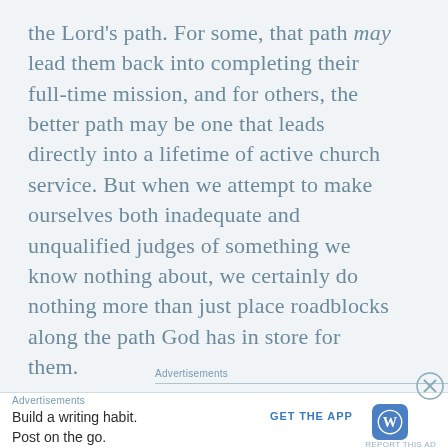the Lord's path. For some, that path may lead them back into completing their full-time mission, and for others, the better path may be one that leads directly into a lifetime of active church service. But when we attempt to make ourselves both inadequate and unqualified judges of something we know nothing about, we certainly do nothing more than just place roadblocks along the path God has in store for them.
Advertisements
Advertisements
Build a writing habit. Post on the go.
GET THE APP